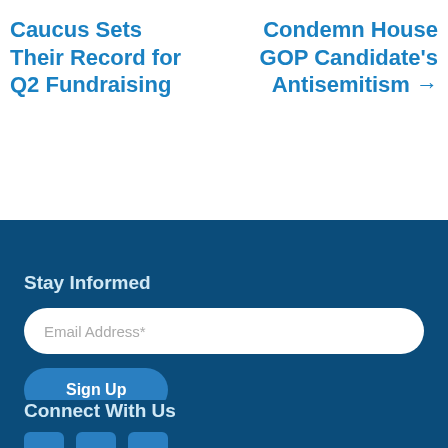Caucus Sets Their Record for Q2 Fundraising
Condemn House GOP Candidate's Antisemitism →
Stay Informed
Email Address*
Sign Up
Connect With Us